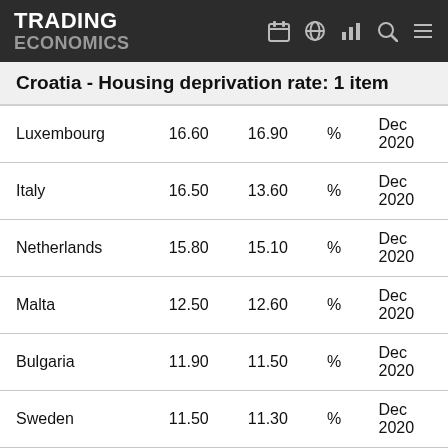TRADING ECONOMICS
Croatia - Housing deprivation rate: 1 item
| Country | Value | Previous | Unit | Date |
| --- | --- | --- | --- | --- |
| Luxembourg | 16.60 | 16.90 | % | Dec 2020 |
| Italy | 16.50 | 13.60 | % | Dec 2020 |
| Netherlands | 15.80 | 15.10 | % | Dec 2020 |
| Malta | 12.50 | 12.60 | % | Dec 2020 |
| Bulgaria | 11.90 | 11.50 | % | Dec 2020 |
| Sweden | 11.50 | 11.30 | % | Dec 2020 |
| Poland | 10.80 | 11.70 | % | Dec 2019 |
| Finland | 7.40 | 6.60 | % | Dec 2020 |
| Czech Republic | 7.30 | 6.90 | % | Dec 2020 |
| Romania | 6.00 | 5.80 | % | Dec 2020 |